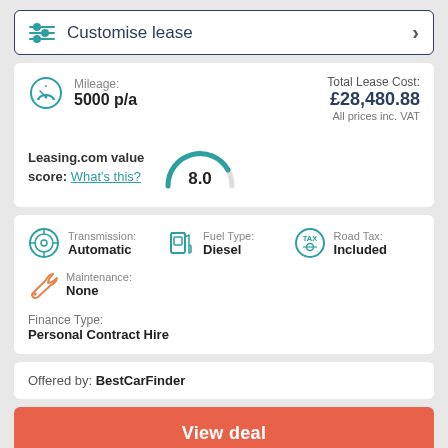Customise lease
Mileage: 5000 p/a
Total Lease Cost: £28,480.88 All prices inc. VAT
Leasing.com value score: What's this? 8.0
Transmission: Automatic
Fuel Type: Diesel
Road Tax: Included
Maintenance: None
Finance Type: Personal Contract Hire
Offered by: BestCarFinder
View deal